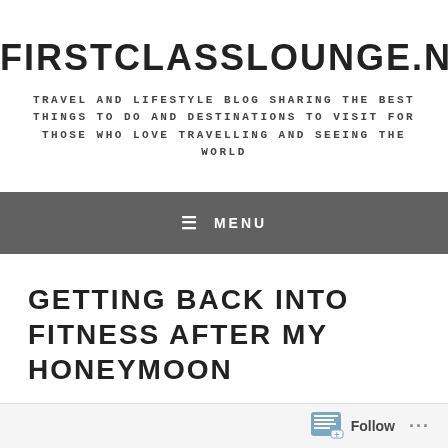FIRSTCLASSLOUNGE.NET
TRAVEL AND LIFESTYLE BLOG SHARING THE BEST THINGS TO DO AND DESTINATIONS TO VISIT FOR THOSE WHO LOVE TRAVELLING AND SEEING THE WORLD
≡ MENU
GETTING BACK INTO FITNESS AFTER MY HONEYMOON
Follow ...